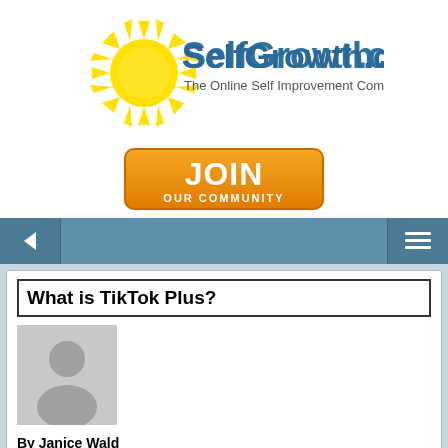[Figure (logo): SelfGrowth.com logo with yellow sunburst and blue text 'SelfGrowth.com', tagline 'The Online Self Improvement Community']
[Figure (illustration): Orange gradient JOIN OUR COMMUNITY button]
[Figure (screenshot): Navigation bar with back arrow on left and hamburger menu on right, steel blue background]
What is TikTok Plus?
[Figure (photo): Generic grey silhouette avatar placeholder image]
By Janice Wald
See all Articles by Janice Wald  See Janice Wald's Expert Page